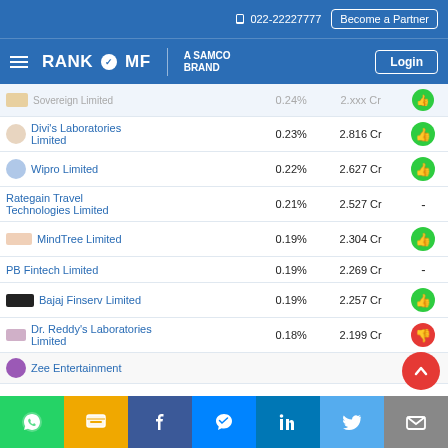022-22227777 | Become a Partner | RANKOMF A SAMCO BRAND | Login
| Company | Weight | Value | Rating |
| --- | --- | --- | --- |
| Sovereign Limited (partial) | 0.24% | 2.xxx Cr | thumbs-up |
| Divi's Laboratories Limited | 0.23% | 2.816 Cr | thumbs-up |
| Wipro Limited | 0.22% | 2.627 Cr | thumbs-up |
| Rategain Travel Technologies Limited | 0.21% | 2.527 Cr | - |
| MindTree Limited | 0.19% | 2.304 Cr | thumbs-up |
| PB Fintech Limited | 0.19% | 2.269 Cr | - |
| Bajaj Finserv Limited | 0.19% | 2.257 Cr | thumbs-up |
| Dr. Reddy's Laboratories Limited | 0.18% | 2.199 Cr | thumbs-down |
| Zee Entertainment (partial) |  |  |  |